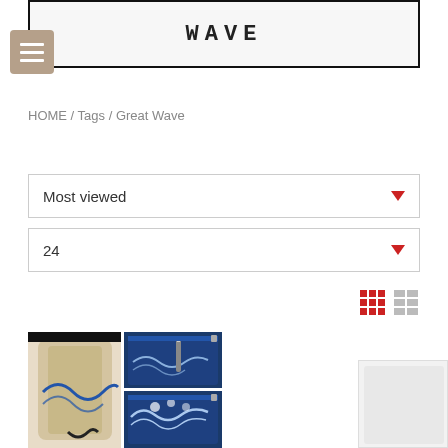Wave
HOME / Tags / Great Wave
Most viewed
24
[Figure (photo): Product photo collage showing knitting/craft accessories with Great Wave Hokusai print — a rolled fabric case on the left, and two zippered pouches on the right displaying the Great Wave print in blue and white.]
[Figure (photo): Partial product image on the right side, cropped off screen.]